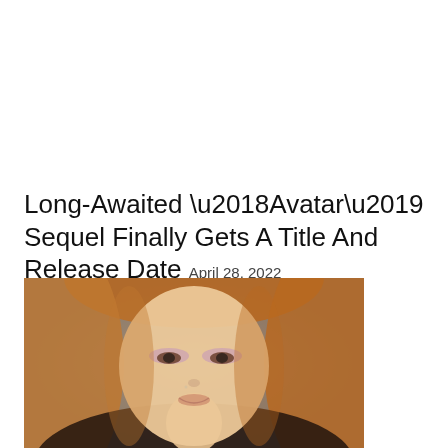Long-Awaited ‘Avatar’ Sequel Finally Gets A Title And Release Date April 28, 2022
[Figure (photo): Portrait photo of a young woman with reddish-blonde hair, wearing pink/purple eyeshadow, smiling slightly, photographed against a grey-blue background]